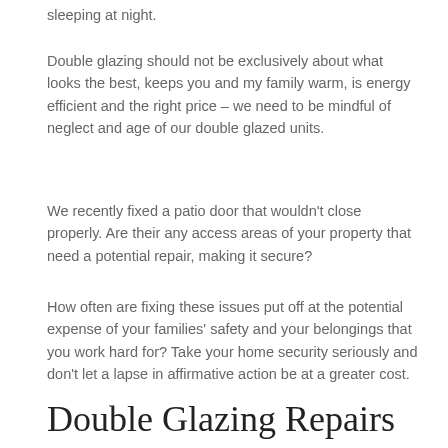sleeping at night.
Double glazing should not be exclusively about what looks the best, keeps you and my family warm, is energy efficient and the right price – we need to be mindful of neglect and age of our double glazed units.
We recently fixed a patio door that wouldn't close properly. Are their any access areas of your property that need a potential repair, making it secure?
How often are fixing these issues put off at the potential expense of your families' safety and your belongings that you work hard for? Take your home security seriously and don't let a lapse in affirmative action be at a greater cost.
Double Glazing Repairs